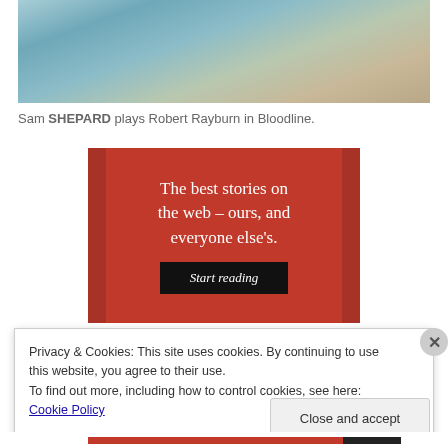[Figure (photo): Close-up photo of a man in a blue/teal open-collar shirt, partially cropped]
Sam SHEPARD plays Robert Rayburn in Bloodline.
[Figure (infographic): Red advertisement banner reading: The best stories on the web – ours, and everyone else's. With a 'Start reading' button.]
Privacy & Cookies: This site uses cookies. By continuing to use this website, you agree to their use.
To find out more, including how to control cookies, see here: Cookie Policy
Close and accept